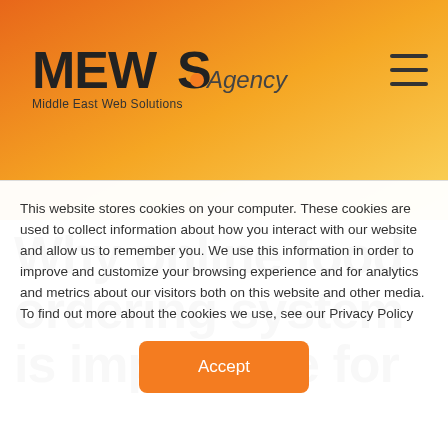[Figure (logo): MEWS Agency logo — Middle East Web Solutions — on orange gradient header banner with hamburger menu icon top right]
Why online food ordering system is imperative for
This website stores cookies on your computer. These cookies are used to collect information about how you interact with our website and allow us to remember you. We use this information in order to improve and customize your browsing experience and for analytics and metrics about our visitors both on this website and other media. To find out more about the cookies we use, see our Privacy Policy